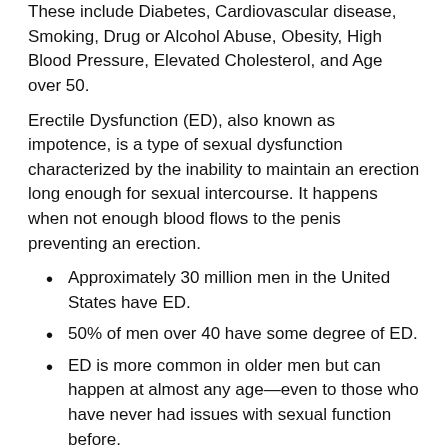These include Diabetes, Cardiovascular disease, Smoking, Drug or Alcohol Abuse, Obesity, High Blood Pressure, Elevated Cholesterol, and Age over 50.
Erectile Dysfunction (ED), also known as impotence, is a type of sexual dysfunction characterized by the inability to maintain an erection long enough for sexual intercourse. It happens when not enough blood flows to the penis preventing an erection.
Approximately 30 million men in the United States have ED.
50% of men over 40 have some degree of ED.
ED is more common in older men but can happen at almost any age—even to those who have never had issues with sexual function before.
Typical symptoms of ED include
Erections too soft for penetration
Erections too brief for penetration
An inability to achieve erections